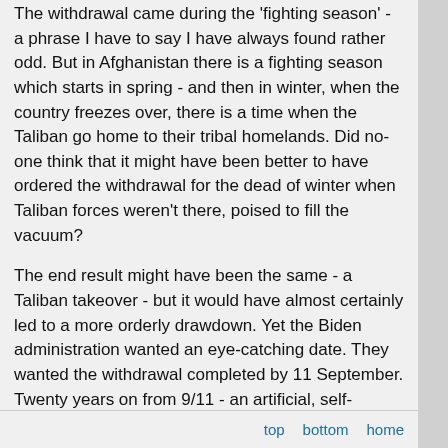The withdrawal came during the 'fighting season' - a phrase I have to say I have always found rather odd. But in Afghanistan there is a fighting season which starts in spring - and then in winter, when the country freezes over, there is a time when the Taliban go home to their tribal homelands. Did no-one think that it might have been better to have ordered the withdrawal for the dead of winter when Taliban forces weren't there, poised to fill the vacuum?
The end result might have been the same - a Taliban takeover - but it would have almost certainly led to a more orderly drawdown. Yet the Biden administration wanted an eye-catching date. They wanted the withdrawal completed by 11 September. Twenty years on from 9/11 - an artificial, self-imposed deadline.
...
Biden's election campaign could be boiled down to three messages to distinguish himself from Donald Trump. First, he would be more empathe... would be more competent. And instead o...
top   bottom   home